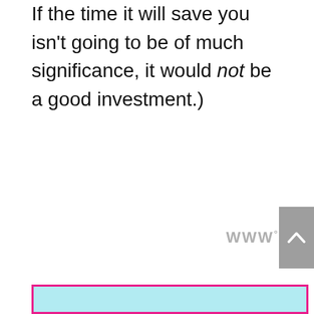If the time it will save you isn't going to be of much significance, it would not be a good investment.)
[Figure (other): Gray scroll-to-top button with white chevron/caret icon]
WWW°
[Figure (other): Pink-bordered box with light blue/cyan fill at bottom of page]